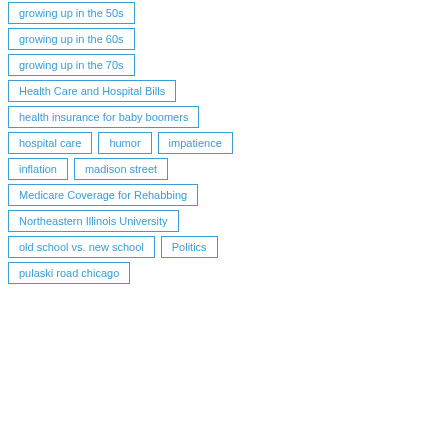growing up in the 50s
growing up in the 60s
growing up in the 70s
Health Care and Hospital Bills
health insurance for baby boomers
hospital care
humor
impatience
inflation
madison street
Medicare Coverage for Rehabbing
Northeastern Illinois University
old school vs. new school
Politics
pulaski road chicago